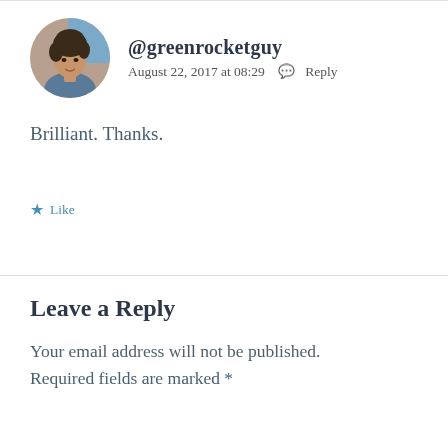[Figure (photo): Circular avatar photo of a person with curly dark hair]
@greenrocketguy
August 22, 2017 at 08:29  Reply
Brilliant. Thanks.
★ Like
Leave a Reply
Your email address will not be published. Required fields are marked *